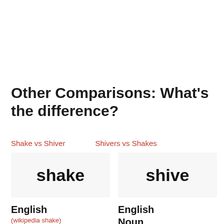Other Comparisons: What's the difference?
Shake vs Shiver
Shivers vs Shakes
[Figure (other): Word box showing 'shake' on light gray background]
[Figure (other): Word box showing 'shive' on light gray background]
English
(wikipedia shake)
English
Noun